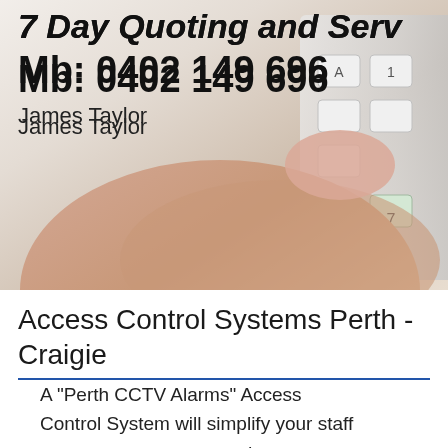[Figure (photo): A hand pressing buttons on an access control keypad, shown against a light background. Text overlaid on the photo includes a heading and contact details.]
7 Day Quoting and Serv...
Mb: 0402 149 696
James Taylor
Access Control Systems Perth - Craigie
A "Perth CCTV Alarms" Access Control System will simplify your staff access management and create